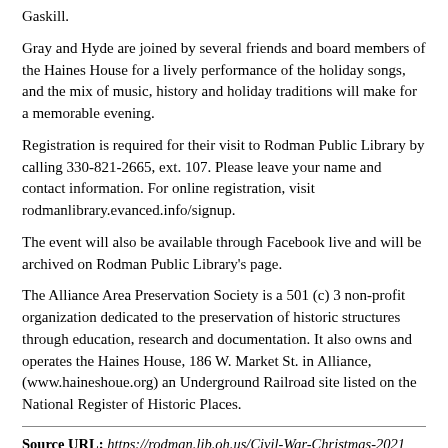Gaskill.
Gray and Hyde are joined by several friends and board members of the Haines House for a lively performance of the holiday songs, and the mix of music, history and holiday traditions will make for a memorable evening.
Registration is required for their visit to Rodman Public Library by calling 330-821-2665, ext. 107. Please leave your name and contact information. For online registration, visit rodmanlibrary.evanced.info/signup.
The event will also be available through Facebook live and will be archived on Rodman Public Library's page.
The Alliance Area Preservation Society is a 501 (c) 3 non-profit organization dedicated to the preservation of historic structures through education, research and documentation. It also owns and operates the Haines House, 186 W. Market St. in Alliance, (www.haineshoue.org) an Underground Railroad site listed on the National Register of Historic Places.
Source URL: https://rodman.lib.oh.us/Civil-War-Christmas-2021